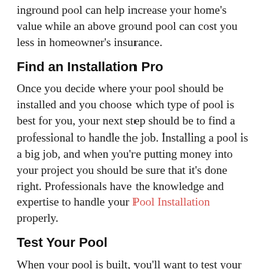inground pool can help increase your home's value while an above ground pool can cost you less in homeowner's insurance.
Find an Installation Pro
Once you decide where your pool should be installed and you choose which type of pool is best for you, your next step should be to find a professional to handle the job. Installing a pool is a big job, and when you're putting money into your project you should be sure that it's done right. Professionals have the knowledge and expertise to handle your Pool Installation properly.
Test Your Pool
When your pool is built, you'll want to test your finished work. Once your pool is filled, check for leaks and test your water to be sure it's